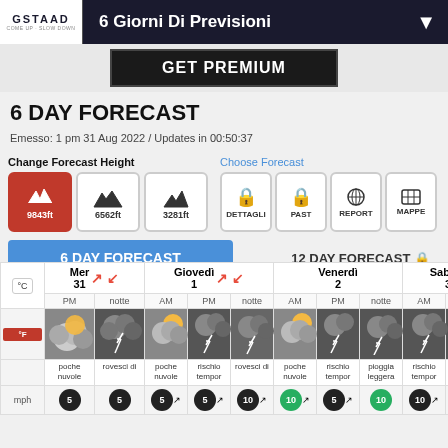6 Giorni Di Previsioni
[Figure (screenshot): GET PREMIUM advertisement banner]
6 DAY FORECAST
Emesso: 1 pm 31 Aug 2022 / Updates in 00:50:37
Change Forecast Height
Choose Forecast
9843ft, 6562ft, 3281ft height buttons
DETTAGLI, PAST, REPORT, MAPPE forecast buttons
6 DAY FORECAST (active) | 12 DAY FORECAST (locked)
| °C/°F | Mer 31 |  | Giovedì 1 |  |  | Venerdì 2 |  |  | Sabato 3 |  |  |
| --- | --- | --- | --- | --- | --- | --- | --- | --- | --- | --- | --- |
|  | PM | notte | AM | PM | notte | AM | PM | notte | AM | PM | n |
|  | weather icons row |  |  |  |  |  |  |  |  |  |  |
|  | poche nuvole | rovesci di | poche nuvole | rischio tempor | rovesci di | poche nuvole | rischio tempor | pioggia leggera | rischio tempor | rischio tempor | ro |
| mph | 5 | 5 | 5 | 5 | 10 | 10 | 5 | 10 | 10 | 10 |  |